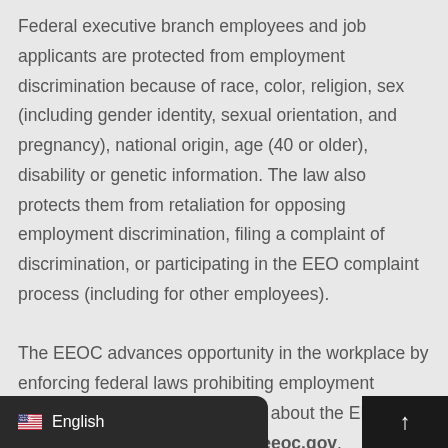Federal executive branch employees and job applicants are protected from employment discrimination because of race, color, religion, sex (including gender identity, sexual orientation, and pregnancy), national origin, age (40 or older), disability or genetic information. The law also protects them from retaliation for opposing employment discrimination, filing a complaint of discrimination, or participating in the EEO complaint process (including for other employees).
The EEOC advances opportunity in the workplace by enforcing federal laws prohibiting employment discrimination. More information about the EEOC's work generally can be found at eeoc.gov.